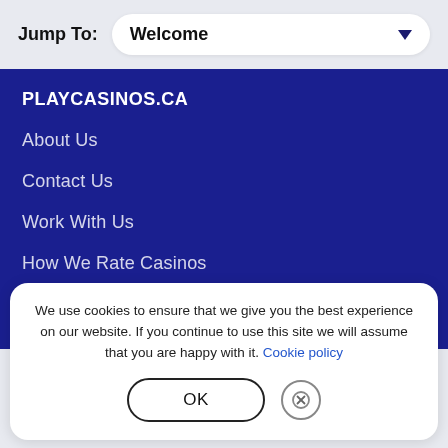Jump To: Welcome
PLAYCASINOS.CA
About Us
Contact Us
Work With Us
How We Rate Casinos
List Your Casino
We use cookies to ensure that we give you the best experience on our website. If you continue to use this site we will assume that you are happy with it. Cookie policy
OK